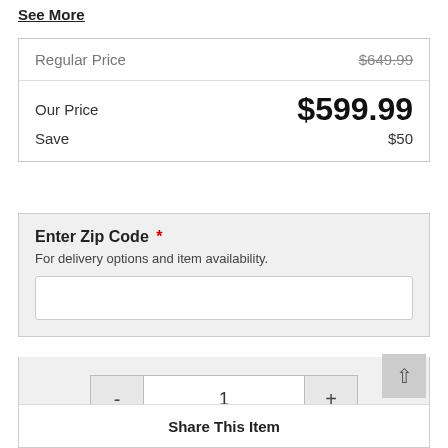See More
| Regular Price | $649.99 |
| Our Price | $599.99 |
| Save | $50 |
Enter Zip Code *
For delivery options and item availability.
1
Add To Cart
Share This Item